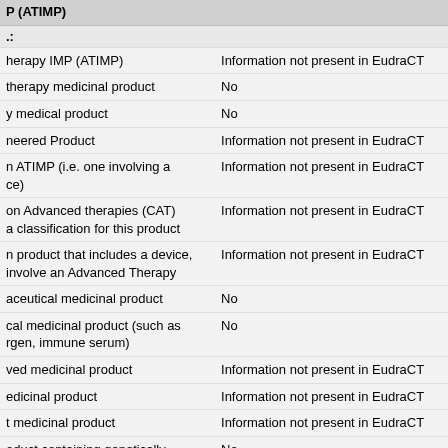| Field | Value |
| --- | --- |
| ...g (...) P (ATIMP) |  |
| ..: |  |
| ...herapy IMP (ATIMP) | Information not present in EudraCT |
| ...therapy medicinal product | No |
| ...y medical product | No |
| ...neered Product | Information not present in EudraCT |
| ...n ATIMP (i.e. one involving a ...ce) | Information not present in EudraCT |
| ...on Advanced therapies (CAT) ...a classification for this product | Information not present in EudraCT |
| ...n product that includes a device, ...involve an Advanced Therapy | Information not present in EudraCT |
| ...aceutical medicinal product | No |
| ...cal medicinal product (such as ...rgen, immune serum) | No |
| ...ved medicinal product | Information not present in EudraCT |
| ...edicinal product | Information not present in EudraCT |
| ...t medicinal product | Information not present in EudraCT |
| ...oduct containing genetically... | No |